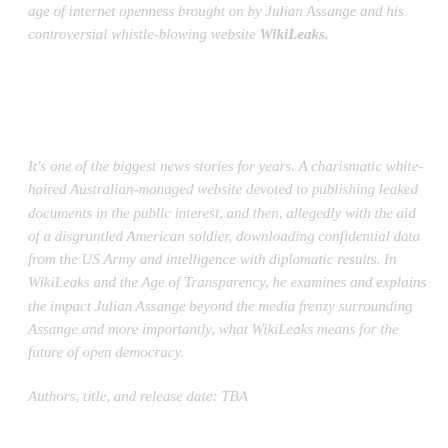age of internet openness brought on by Julian Assange and his controversial whistle-blowing website WikiLeaks.
It's one of the biggest news stories for years. A charismatic white-haired Australian-managed website devoted to publishing leaked documents in the public interest, and then, allegedly with the aid of a disgruntled American soldier, downloading confidential data from the US Army and intelligence with diplomatic results. In WikiLeaks and the Age of Transparency, he examines and explains the impact Julian Assange beyond the media frenzy surrounding Assange and more importantly, what WikiLeaks means for the future of open democracy.
Authors, title, and release date: TBA